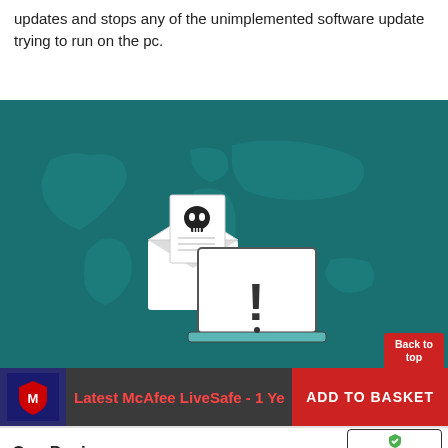updates and stops any of the unimplemented software update trying to run on the pc.
[Figure (illustration): Dark teal background with world map silhouette. Center shows a white laptop displaying an exclamation mark warning, and behind it an open envelope with a skull-and-crossbones document — cyber threat / malware concept illustration.]
Latest McAfee LiveSafe - 1 Ye
ADD TO BASKET
Back to top
One Device
[Figure (logo): TrustedSite CERTIFIED SECURE badge]